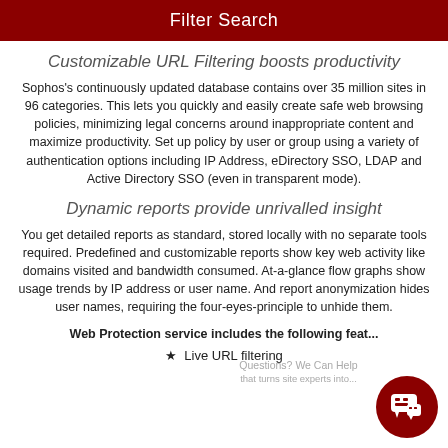Filter Search
Customizable URL Filtering boosts productivity
Sophos's continuously updated database contains over 35 million sites in 96 categories. This lets you quickly and easily create safe web browsing policies, minimizing legal concerns around inappropriate content and maximize productivity. Set up policy by user or group using a variety of authentication options including IP Address, eDirectory SSO, LDAP and Active Directory SSO (even in transparent mode).
Dynamic reports provide unrivalled insight
You get detailed reports as standard, stored locally with no separate tools required. Predefined and customizable reports show key web activity like domains visited and bandwidth consumed. At-a-glance flow graphs show usage trends by IP address or user name. And report anonymization hides user names, requiring the four-eyes-principle to unhide them.
Web Protection service includes the following fea...
Live URL filtering